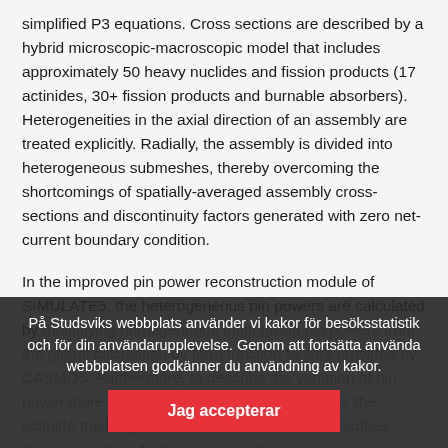simplified P3 equations. Cross sections are described by a hybrid microscopic-macroscopic model that includes approximately 50 heavy nuclides and fission products (17 actinides, 30+ fission products and burnable absorbers). Heterogeneities in the axial direction of an assembly are treated explicitly. Radially, the assembly is divided into heterogeneous submeshes, thereby overcoming the shortcomings of spatially-averaged assembly cross-sections and discontinuity factors generated with zero net-current boundary condition.
In the improved pin power reconstruction module of SIMULATE5, the heterogeneous pin powers are calculated by multiplying homogeneous multi-group pin powers from the global calculation by form function factors provided by CASMO5. Furthermore, to describe the variation of pin power more accurately with irradiation changes, the actinide tracking on the assembly submesh describes exposure-induced pin power variations.
Performance Through Parallelization
På Studsviks webbplats använder vi kakor för besöksstatistik och för din användarupplevelse. Genom att fortsätta använda webbplatsen godkänner du användning av kakor.
Jag accepterar